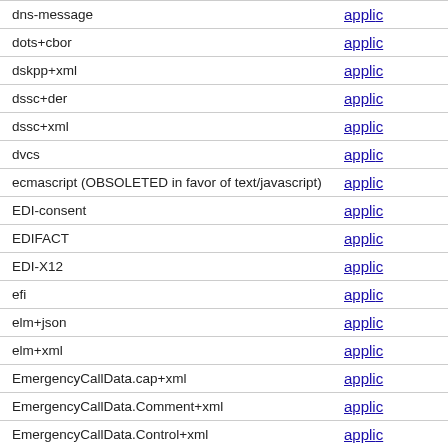| Name | Reference |
| --- | --- |
| dns-message | appli… |
| dots+cbor | appli… |
| dskpp+xml | appli… |
| dssc+der | appli… |
| dssc+xml | appli… |
| dvcs | appli… |
| ecmascript (OBSOLETED in favor of text/javascript) | appli… |
| EDI-consent | appli… |
| EDIFACT | appli… |
| EDI-X12 | appli… |
| efi | appli… |
| elm+json | appli… |
| elm+xml | appli… |
| EmergencyCallData.cap+xml | appli… |
| EmergencyCallData.Comment+xml | appli… |
| EmergencyCallData.Control+xml | appli… |
| EmergencyCallData.DeviceInfo+xml | appli… |
| EmergencyCallData.eCall.MSD | appli… |
| EmergencyCallData.ProviderInfo+xml | appli… |
| EmergencyCallData.ServiceInfo+xml | appli… |
| EmergencyCallData.SubscriberInfo+xml | appli… |